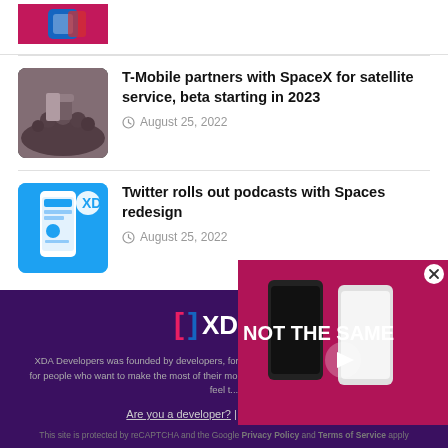[Figure (photo): Partial thumbnail of an app/article at top of page, cut off]
T-Mobile partners with SpaceX for satellite service, beta starting in 2023 — August 25, 2022
Twitter rolls out podcasts with Spaces redesign — August 25, 2022
[Figure (logo): XDA Developers logo in footer]
XDA Developers was founded by developers, for developers. It is now a valuable resource for people who want to make the most of their mobile devices, from customizing the look and feel to...
Are you a developer? | Terms of Service
This site is protected by reCAPTCHA and the Google Privacy Policy and Terms of Service apply
[Figure (screenshot): Video overlay showing two smartphones with text NOT THE SAME and a play button, with a close X button]